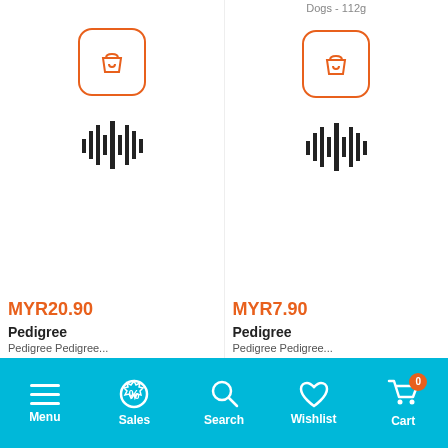Dogs - 112g
[Figure (screenshot): Two product columns each showing an add-to-cart button (orange square with shopping bag icon), a barcode/waveform icon, price in orange, and product name Pedigree]
MYR20.90
Pedigree
MYR7.90
Pedigree
Menu  Sales  Search  Wishlist  Cart 0